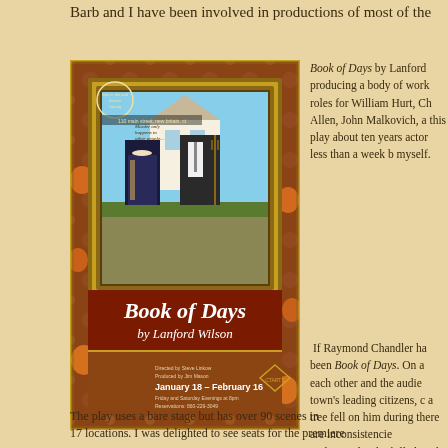Barb and I have been involved in productions of most of the
[Figure (illustration): Theatrical poster for 'Book of Days by Lanford Wilson' showing a parody of American Gothic painting inside an ornate frame, with headless figures, autumn/Halloween themed background. Text includes: 'hole in the wall theatre', '110 main street, new britain, ct', 'Murder only happens to other people...', 'Book of Days by Lanford Wilson', 'Directed by Steve Linkow, Produced by Jim Mason', 'January 18 - February 16', 'Friday and Saturday Evenings at 8pm', 'Reservations: 860-229-3049']
Book of Days by Lanford producing a body of work roles for William Hurt, Ch Allen, John Malkovich, a this play about ten years actor less than a week b myself.
If Raymond Chandler ha been Book of Days. On a each other and the audie town's leading citizens, c a tree fell on him during there are inconsistencie understands who killed W the killer will get away w
The play uses a bare stage but has over 90 scenes in 17 locations. I was delighted to see seats for the premiere